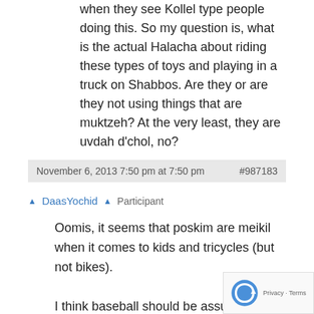when they see Kollel type people doing this. So my question is, what is the actual Halacha about riding these types of toys and playing in a truck on Shabbos. Are they or are they not using things that are muktzeh? At the very least, they are uvdah d'chol, no?
November 6, 2013 7:50 pm at 7:50 pm   #987183
DaasYochid   Participant
Oomis, it seems that poskim are meikil when it comes to kids and tricycles (but not bikes).

I think baseball should be assur because of, as you say, uvdin d'chol, and, as I alluded to, and other posters mentioned as well, there is an issur to do things which require a straight floor, lest one fill in holes or flatten bumps.